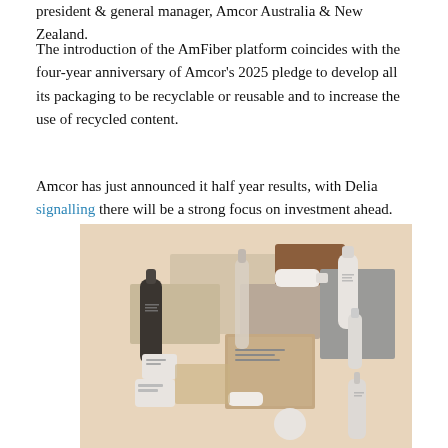president & general manager, Amcor Australia & New Zealand.
The introduction of the AmFiber platform coincides with the four-year anniversary of Amcor's 2025 pledge to develop all its packaging to be recyclable or reusable and to increase the use of recycled content.
Amcor has just announced it half year results, with Delia signalling there will be a strong focus on investment ahead.
[Figure (photo): A flat-lay product photography image showing various sustainable packaging items — bottles, tubes, boxes, containers — arranged on a warm beige/cream background. Products include glass bottles, white tubes, cardboard boxes, and various skincare-style containers in neutral tones.]